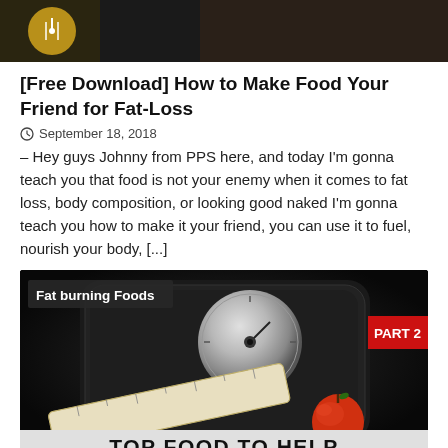[Figure (photo): Top portion of a dark photo showing a person, partially cropped]
[Free Download] How to Make Food Your Friend for Fat-Loss
September 18, 2018
– Hey guys Johnny from PPS here, and today I'm gonna teach you that food is not your enemy when it comes to fat loss, body composition, or looking good naked I'm gonna teach you how to make it your friend, you can use it to fuel, nourish your body, [...]
[Figure (photo): Dark image of a bathroom scale with a tape measure and an apple on it. Text overlay reads 'Fat burning Foods' in top left and 'PART 2' in red badge on right. Bottom shows 'TOP FOOD TO HELP' in large bold black text on gray background.]